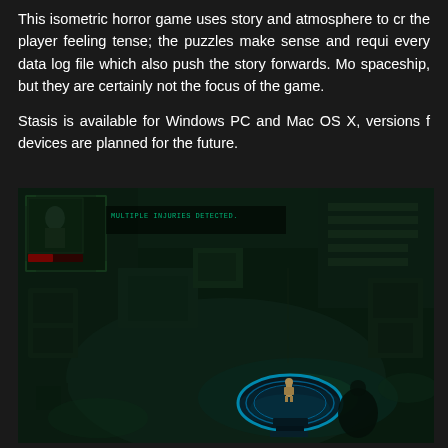This isometric horror game uses story and atmosphere to cr... the player feeling tense; the puzzles make sense and requi... every data log file which also push the story forwards. Mo... spaceship, but they are certainly not the focus of the game.

Stasis is available for Windows PC and Mac OS X, versions f... devices are planned for the future.
[Figure (screenshot): Screenshot from the isometric horror game Stasis showing a dark spaceship interior with teal/green lighting. A character stands on a glowing blue circular platform. In the upper left there is a UI element showing a character portrait with text 'MULTIPLE INJURIES DETECTED.' The environment features dark metallic corridors, equipment, and atmospheric green-tinted lighting.]